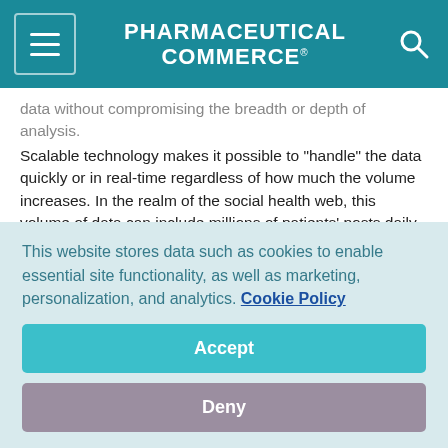PHARMACEUTICAL COMMERCE
data without compromising the breadth or depth of analysis. Scalable technology makes it possible to "handle" the data quickly or in real-time regardless of how much the volume increases. In the realm of the social health web, this volume of data can include millions of patients' posts daily.
Sentiment Analysis — Refers to analytical tools capable of identifying and extracting "opinions" or subjective information based on simple terms to determine the attitude of a speaker about a discussed topic. In the context of social media, such tools can
This website stores data such as cookies to enable essential site functionality, as well as marketing, personalization, and analytics. Cookie Policy
Accept
Deny